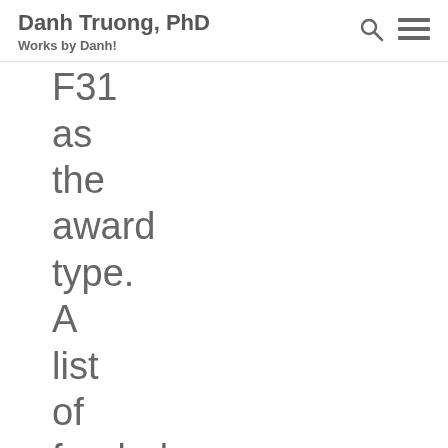Danh Truong, PhD
Works by Danh!
F31
as
the
award
type.
A
list
of
funded
research
will
populate